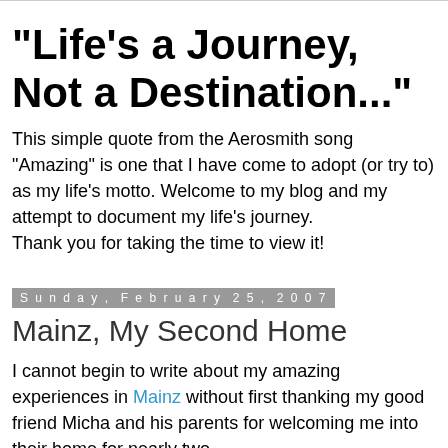"Life's a Journey, Not a Destination..."
This simple quote from the Aerosmith song "Amazing" is one that I have come to adopt (or try to) as my life's motto. Welcome to my blog and my attempt to document my life's journey.
Thank you for taking the time to view it!
Sunday, February 25, 2007
Mainz, My Second Home
I cannot begin to write about my amazing experiences in Mainz without first thanking my good friend Micha and his parents for welcoming me into their home for nearly two